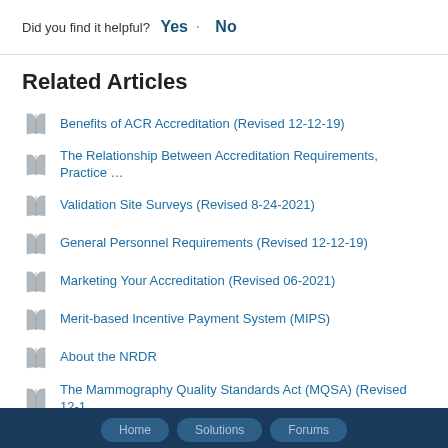Did you find it helpful? Yes · No
Related Articles
Benefits of ACR Accreditation (Revised 12-12-19)
The Relationship Between Accreditation Requirements, Practice …
Validation Site Surveys (Revised 8-24-2021)
General Personnel Requirements (Revised 12-12-19)
Marketing Your Accreditation (Revised 06-2021)
Merit-based Incentive Payment System (MIPS)
About the NRDR
The Mammography Quality Standards Act (MQSA) (Revised 12-1…
Benefits For Clinicians
2019 CMS MIPS QCDR Attestation and Attestation Template
Home   Solutions   Forums